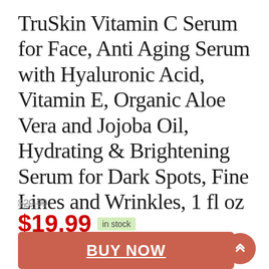TruSkin Vitamin C Serum for Face, Anti Aging Serum with Hyaluronic Acid, Vitamin E, Organic Aloe Vera and Jojoba Oil, Hydrating & Brightening Serum for Dark Spots, Fine Lines and Wrinkles, 1 fl oz
$29.99 (original price, strikethrough)
$19.99 in stock
2 new from $19.99
Free shipping
BUY NOW